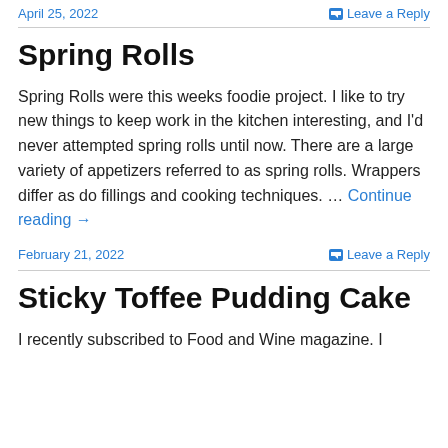April 25, 2022 | Leave a Reply
Spring Rolls
Spring Rolls were this weeks foodie project. I like to try new things to keep work in the kitchen interesting, and I'd never attempted spring rolls until now. There are a large variety of appetizers referred to as spring rolls. Wrappers differ as do fillings and cooking techniques. … Continue reading →
February 21, 2022 | Leave a Reply
Sticky Toffee Pudding Cake
I recently subscribed to Food and Wine magazine. I